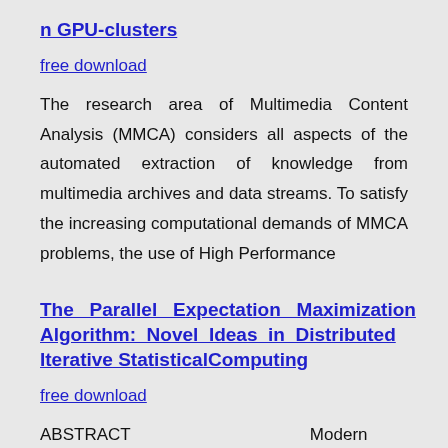n GPU-clusters
free download
The research area of Multimedia Content Analysis (MMCA) considers all aspects of the automated extraction of knowledge from multimedia archives and data streams. To satisfy the increasing computational demands of MMCA problems, the use of High Performance
The Parallel Expectation Maximization Algorithm: Novel Ideas in Distributed Iterative StatisticalComputing
free download
ABSTRACT   Modern